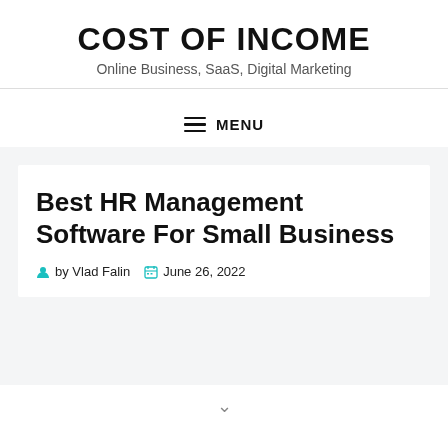COST OF INCOME
Online Business, SaaS, Digital Marketing
MENU
Best HR Management Software For Small Business
by Vlad Falin   June 26, 2022